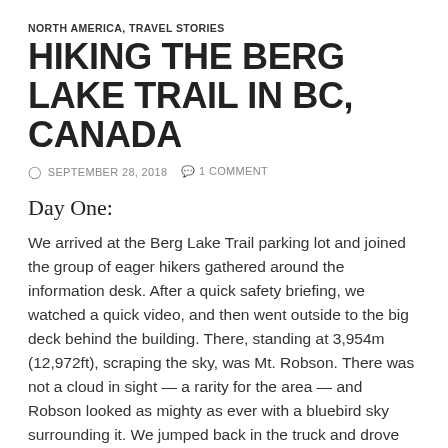NORTH AMERICA, TRAVEL STORIES
HIKING THE BERG LAKE TRAIL IN BC, CANADA
© SEPTEMBER 28, 2018   🗨 1 COMMENT
Day One:
We arrived at the Berg Lake Trail parking lot and joined the group of eager hikers gathered around the information desk. After a quick safety briefing, we watched a quick video, and then went outside to the big deck behind the building. There, standing at 3,954m (12,972ft), scraping the sky, was Mt. Robson. There was not a cloud in sight — a rarity for the area — and Robson looked as mighty as ever with a bluebird sky surrounding it. We jumped back in the truck and drove down the road to the trailhead.